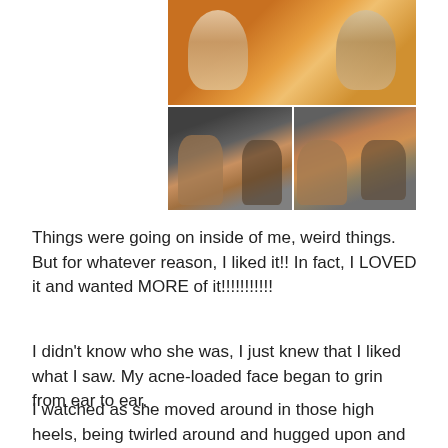[Figure (photo): A 2x2 grid of video screenshots showing figures in orange/warm-toned scenes. Top row spans full width showing two people. Bottom row shows two panels: left panel with figures embracing or interacting, right panel with close-up of figures.]
Things were going on inside of me, weird things. But for whatever reason, I liked it!! In fact, I LOVED it and wanted MORE of it!!!!!!!!!!!
I didn't know who she was, I just knew that I liked what I saw. My acne-loaded face began to grin from ear to ear.
I watched as she moved around in those high heels, being twirled around and hugged upon and whatever else. But